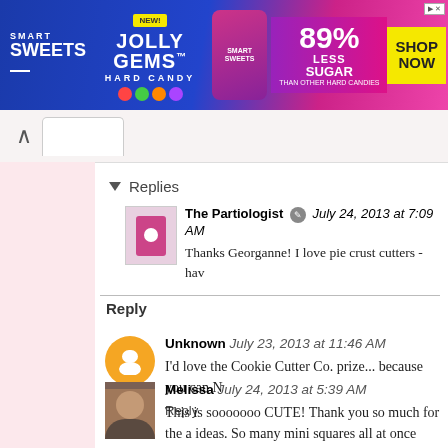[Figure (screenshot): SmartSweets Jolly Gems Hard Candy advertisement banner. Text: NEW!, SMART SWEETS, JOLLY GEMS, HARD CANDY, 89% LESS SUGAR THAN OTHER HARD CANDIES, SHOP NOW]
Replies
The Partiologist  July 24, 2013 at 7:09 AM
Thanks Georganne! I love pie crust cutters - hav
Reply
Unknown  July 23, 2013 at 11:46 AM
I'd love the Cookie Cutter Co. prize... because you can N
Reply
Melissa  July 24, 2013 at 5:39 AM
This is sooooooo CUTE! Thank you so much for the a ideas. So many mini squares all at once